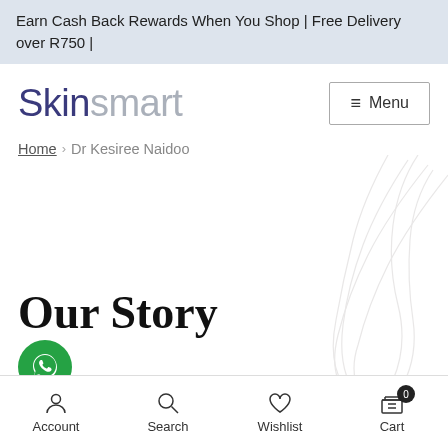Earn Cash Back Rewards When You Shop | Free Delivery over R750 |
Skinsmart
Home › Dr Kesiree Naidoo
Our Story
Skinsmart.co.za is an online skincare
Account  Search  Wishlist  Cart 0